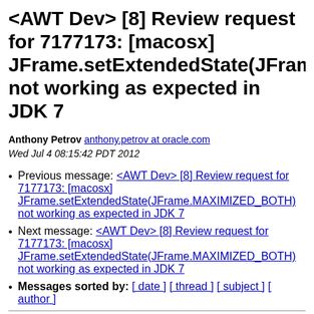<AWT Dev> [8] Review request for 7177173: [macosx] JFrame.setExtendedState(JFrame.MAXIMIZED_BOTH) not working as expected in JDK 7
Anthony Petrov anthony.petrov at oracle.com
Wed Jul 4 08:15:42 PDT 2012
Previous message: <AWT Dev> [8] Review request for 7177173: [macosx] JFrame.setExtendedState(JFrame.MAXIMIZED_BOTH) not working as expected in JDK 7
Next message: <AWT Dev> [8] Review request for 7177173: [macosx] JFrame.setExtendedState(JFrame.MAXIMIZED_BOTH) not working as expected in JDK 7
Messages sorted by: [ date ] [ thread ] [ subject ] [ author ]